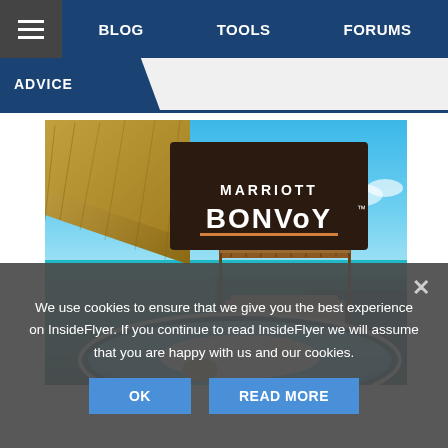BLOG   TOOLS   FORUMS
ADVICE
[Figure (photo): Marriott Bonvoy branded image showing a luxury overwater resort with circular infinity pool, thatched bungalows, and turquoise ocean in the background. Marriott Bonvoy logo overlaid on dark brown/black background in upper center.]
We use cookies to ensure that we give you the best experience on InsideFlyer. If you continue to read InsideFlyer we will assume that you are happy with us and our cookies.
OK   READ MORE